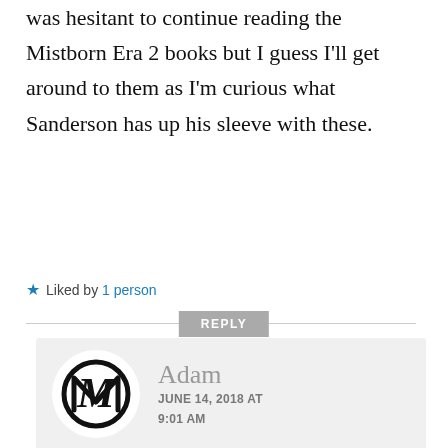was hesitant to continue reading the Mistborn Era 2 books but I guess I'll get around to them as I'm curious what Sanderson has up his sleeve with these.
★ Liked by 1 person
REPLY
[Figure (logo): Circular avatar with stylized MA monogram logo in black]
Adam
JUNE 14, 2018 AT 9:01 AM
I've heard they are very different, almost a different readimg level. And, with the